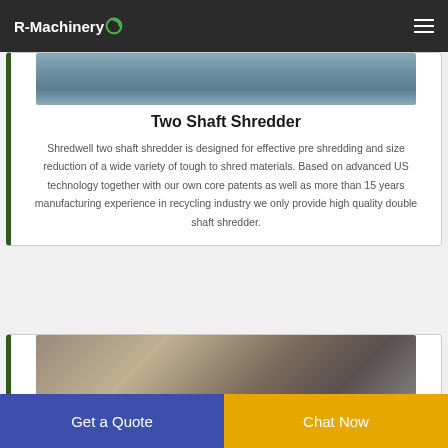R-Machinery
[Figure (photo): Top portion of a two shaft shredder machine, partially visible at the top of the card]
Two Shaft Shredder
Shredwell two shaft shredder is designed for effective pre shredding and size reduction of a wide variety of tough to shred materials. Based on advanced US technology together with our own core patents as well as more than 15 years manufacturing experience in recycling industry we only provide high quality double shaft shredder.
[Figure (photo): Industrial machinery in a factory/warehouse setting, partially visible at the bottom of the page]
Get a Quote  Chat Now